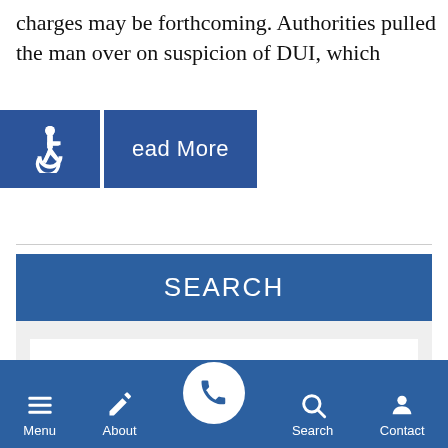charges may be forthcoming. Authorities pulled the man over on suspicion of DUI, which
Read More
SEARCH
Search …
SEARCH
Menu | About | Search | Contact